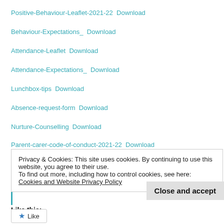Positive-Behaviour-Leaflet-2021-22  Download
Behaviour-Expectations_  Download
Attendance-Leaflet  Download
Attendance-Expectations_  Download
Lunchbox-tips  Download
Absence-request-form  Download
Nurture-Counselling  Download
Parent-carer-code-of-conduct-2021-22  Download
Privacy & Cookies: This site uses cookies. By continuing to use this website, you agree to their use.
To find out more, including how to control cookies, see here: Cookies and Website Privacy Policy
Close and accept
Like this:
Like